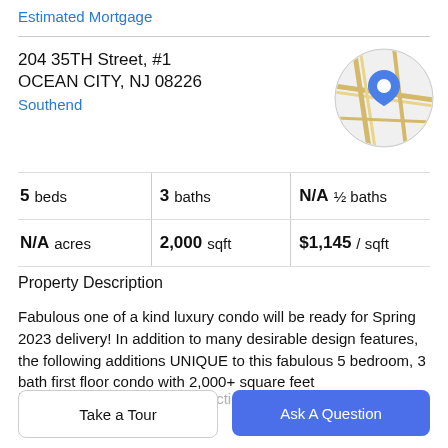Estimated Mortgage
204 35TH Street, #1
OCEAN CITY, NJ 08226
Southend
[Figure (map): Circular map thumbnail showing street map with a blue location pin marker]
|  |  |  |
| --- | --- | --- |
| 5 beds | 3 baths | N/A ½ baths |
| N/A acres | 2,000 sqft | $1,145 / sqft |
Property Description
Fabulous one of a kind luxury condo will be ready for Spring 2023 delivery! In addition to many desirable design features, the following additions UNIQUE to this fabulous 5 bedroom, 3 bath first floor condo with 2,000+ square feet include: The only new construction with a Premium Wind
Take a Tour
Ask A Question